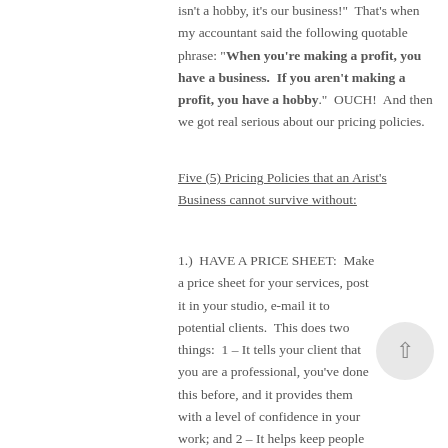isn't a hobby, it's our business!"  That's when my accountant said the following quotable phrase: "When you're making a profit, you have a business.  If you aren't making a profit, you have a hobby."  OUCH!  And then we got real serious about our pricing policies.
Five (5) Pricing Policies that an Arist's Business cannot survive without:
1.)  HAVE A PRICE SHEET:  Make a price sheet for your services, post it in your studio, e-mail it to potential clients.  This does two things:  1 – It tells your client that you are a professional, you've done this before, and it provides them with a level of confidence in your work; and 2 – It helps keep people from wanting to negotiate.  When there's a price sheet, it lends credibility to what